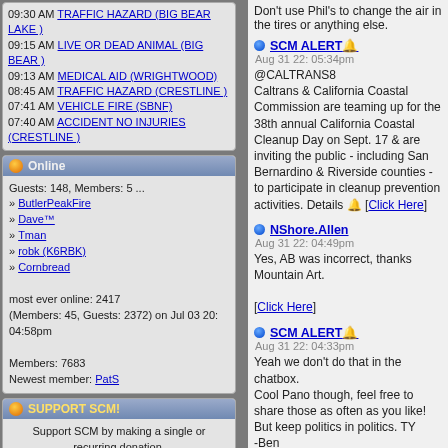09:30 AM TRAFFIC HAZARD (BIG BEAR LAKE )
09:15 AM LIVE OR DEAD ANIMAL (BIG BEAR )
09:13 AM MEDICAL AID (WRIGHTWOOD)
08:45 AM TRAFFIC HAZARD (CRESTLINE )
07:41 AM VEHICLE FIRE (SBNF)
07:40 AM ACCIDENT NO INJURIES (CRESTLINE )
Online
Guests: 148, Members: 5 ...
ButlerPeakFire
Dave™
Tman
robk (K6RBK)
Cornbread
most ever online: 2417 (Members: 45, Guests: 2372) on Jul 03 20: 04:58pm
Members: 7683
Newest member: PatS
SUPPORT SCM!
Support SCM by making a single or recurring donation.
Don't use Phil's to change the air in the tires or anything else.
SCM ALERT
Aug 31 22: 05:34pm
@CALTRANS8
Caltrans & California Coastal Commission are teaming up for the 38th annual California Coastal Cleanup Day on Sept. 17 & are inviting the public - including San Bernardino & Riverside counties - to participate in cleanup prevention activities. Details → [Click Here]
NShore.Allen
Aug 31 22: 04:49pm
Yes, AB was incorrect, thanks Mountain Art.
[Click Here]
SCM ALERT
Aug 31 22: 04:33pm
Yeah we don't do that in the chatbox.
Cool Pano though, feel free to share those as often as you like!
But keep politics in politics. TY
-Ben